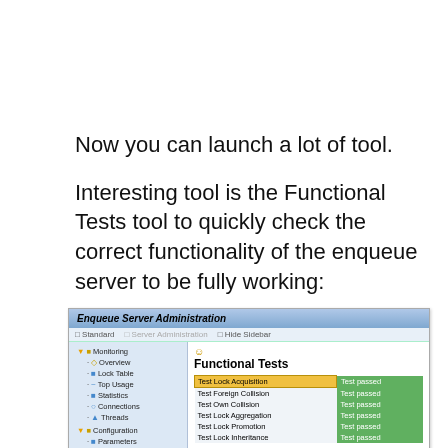Now you can launch a lot of tool.
Interesting tool is the Functional Tests tool to quickly check the correct functionality of the enqueue server to be fully working:
[Figure (screenshot): Screenshot of SAP Enqueue Server Administration interface showing Functional Tests panel. Left sidebar shows navigation tree with Monitoring (Overview, Lock Table, Top Usage, Statistics, Connections, Threads) and Configuration (Parameters, Profile, Access Points). Main area shows Functional Tests with results: Test Lock Acquisition - Test passed, Test Foreign Collision - Test passed, Test Own Collision - Test passed, Test Lock Aggregation - Test passed, Test Lock Promotion - Test passed, Test Lock Inheritance - Test passed.]